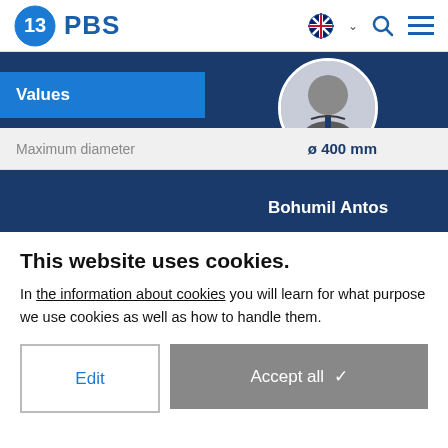PBS logo navigation bar with language selector, search, and menu icons
Values
| Property | Value |
| --- | --- |
| Maximum diameter | ø 400 mm |
[Figure (photo): Circular portrait photo of Bohumil Antos in a suit with PBS branding in background]
Bohumil Antos
This website uses cookies.
In the information about cookies you will learn for what purpose we use cookies as well as how to handle them.
Edit | Accept all ✓